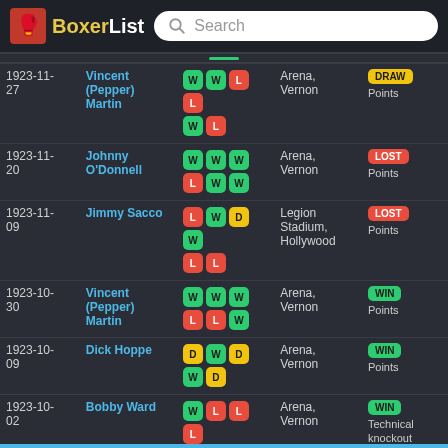BoxerList
| Date | Opponent | Rounds | Venue | Result |
| --- | --- | --- | --- | --- |
| 1923-11-27 | Vincent (Pepper) Martin | W W L L W L | Arena, Vernon | DRAW Points |
| 1923-11-20 | Johnny O'Donnell | W W W L W W | Arena, Vernon | LOST Points |
| 1923-11-09 | Jimmy Sacco | L W D W L L | Legion Stadium, Hollywood | LOST Points |
| 1923-10-30 | Vincent (Pepper) Martin | W W W L L W | Arena, Vernon | WIN Points |
| 1923-10-09 | Dick Hoppe | D W D W D | Arena, Vernon | WIN Points |
| 1923-10-02 | Bobby Ward | W L L L L L | Arena, Vernon | WIN Technical knockout |
| 1923-09-11 | Richie Mitchell | L L W L W L | Arena, Vernon | LOST Points |
| 1923-08-28 | Joe Benjamin | L W W W W D | Arena, Vernon | DRAW Points |
| 1923-07- | Willie | W W W | Moreing Field | LOST |